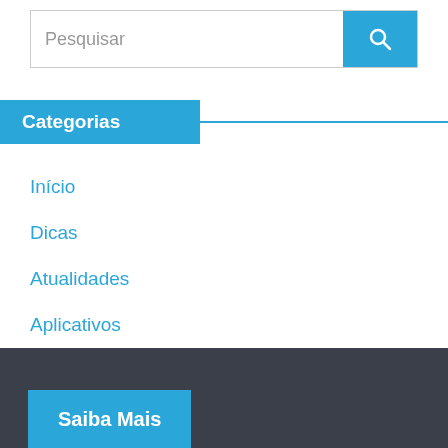Pesquisar
Categorias
Início
Dicas
Atualidades
Aplicativos
Tecnologia
Diversos
Saiba Mais